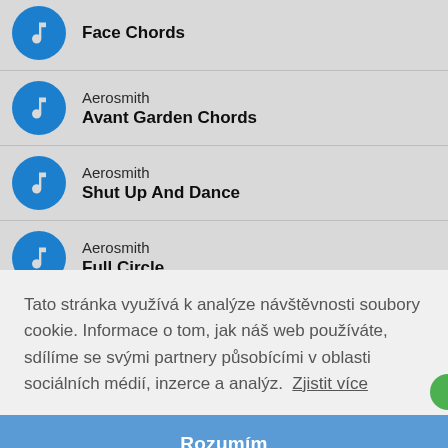Face Chords
Aerosmith – Avant Garden Chords
Aerosmith – Shut Up And Dance
Aerosmith – Full Circle
Tato stránka využívá k analýze návštěvnosti soubory cookie. Informace o tom, jak náš web používáte, sdílíme se svými partnery působícími v oblasti sociálních médií, inzerce a analýz. Zjistit více
Rozumím